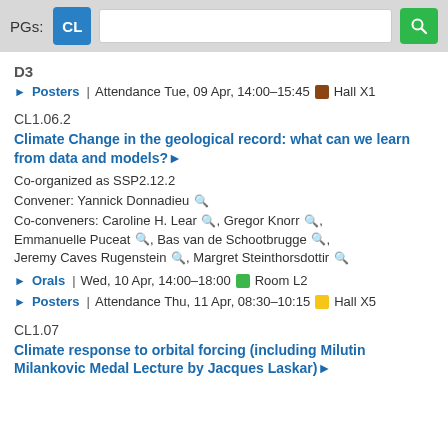PGs: CL
D3
Posters | Attendance Tue, 09 Apr, 14:00–15:45  Hall X1
CL1.06.2
Climate Change in the geological record: what can we learn from data and models?
Co-organized as SSP2.12.2
Convener: Yannick Donnadieu
Co-conveners: Caroline H. Lear, Gregor Knorr, Emmanuelle Puceat, Bas van de Schootbrugge, Jeremy Caves Rugenstein, Margret Steinthorsdottir
Orals | Wed, 10 Apr, 14:00–18:00  Room L2
Posters | Attendance Thu, 11 Apr, 08:30–10:15  Hall X5
CL1.07
Climate response to orbital forcing (including Milutin Milankovic Medal Lecture by Jacques Laskar)